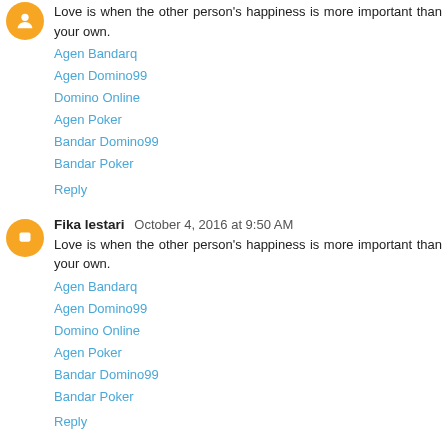Love is when the other person's happiness is more important than your own.
Agen Bandarq
Agen Domino99
Domino Online
Agen Poker
Bandar Domino99
Bandar Poker
Reply
Fika lestari  October 4, 2016 at 9:50 AM
Love is when the other person's happiness is more important than your own.
Agen Bandarq
Agen Domino99
Domino Online
Agen Poker
Bandar Domino99
Bandar Poker
Reply